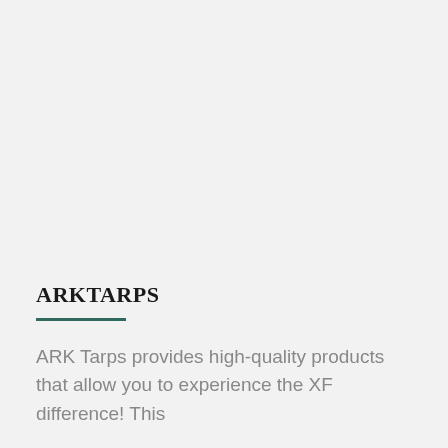ARKTARPS
ARK Tarps provides high-quality products that allow you to experience the XF difference! This